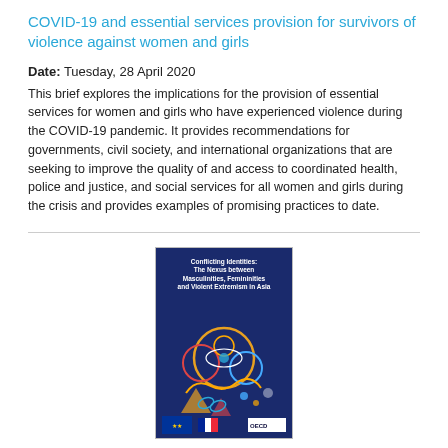COVID-19 and essential services provision for survivors of violence against women and girls
Date: Tuesday, 28 April 2020
This brief explores the implications for the provision of essential services for women and girls who have experienced violence during the COVID-19 pandemic. It provides recommendations for governments, civil society, and international organizations that are seeking to improve the quality of and access to coordinated health, police and justice, and social services for all women and girls during the crisis and provides examples of promising practices to date.
[Figure (photo): Book cover of 'Conflicting Identities: The Nexus between Masculinities, Femininities and Violent Extremism in Asia' with dark blue background and colorful circular graphic elements, EU and partner logos at bottom.]
Conflicting identities: The nexus between masculinities, femininities and violent extremism in Asia
Date: Tuesday, 31 March 2020
We know that violent extremism has gendered impacts. But how do